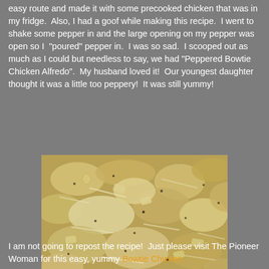easy route and made it with some precooked chicken that was in my fridge.  Also, I had a goof while making this recipe.  I went to shake some pepper in and the large opening on my pepper was open so I  "poured" pepper in.  I was so sad.  I scooped out as much as I could but needless to say, we had "Peppered Bowtie Chicken Alfredo".  My husband loved it!  Our youngest daughter thought it was a little too peppery!  It was still yummy!
[Figure (photo): Close-up photo of Bowtie Chicken Alfredo pasta dish with farfalle pasta coated in creamy alfredo sauce, shredded chicken, and visible black pepper]
I am not going to repost the recipe!  Just please visit The Pioneer Woman for this easy, yummy Bowtie Chicken